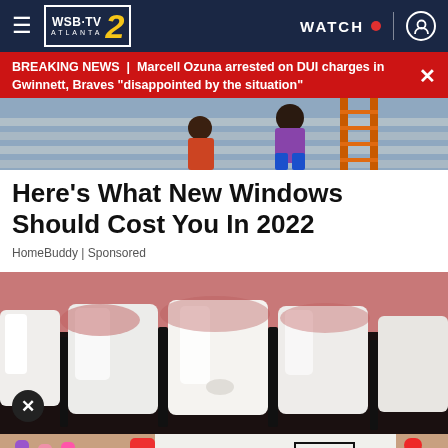[Figure (screenshot): WSB-TV Channel 2 Atlanta navigation bar with hamburger menu, logo, WATCH button with red dot, and user icon]
BREAKING NEWS | Marcell Ozuna arrested on DUI charges in Gwinnett, Braves "disappointed by the situation"
[Figure (photo): Construction workers on a ladder near a house with siding visible]
Here's What New Windows Should Cost You In 2022
HomeBuddy | Sponsored
[Figure (photo): Close-up photo of white teeth/dental veneer advertisement]
[Figure (photo): MAC cosmetics advertisement banner with lipsticks and SHOP NOW button]